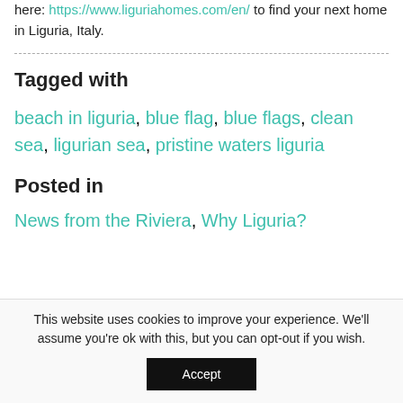here: https://www.liguriahomes.com/en/ to find your next home in Liguria, Italy.
Tagged with
beach in liguria, blue flag, blue flags, clean sea, ligurian sea, pristine waters liguria
Posted in
News from the Riviera, Why Liguria?
This website uses cookies to improve your experience. We'll assume you're ok with this, but you can opt-out if you wish.